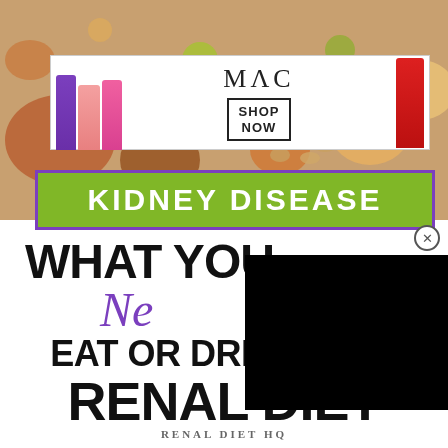[Figure (photo): Background photo of various foods and ingredients (nuts, vegetables, herbs)]
[Figure (illustration): MAC cosmetics advertisement banner with colorful lipsticks, MAC logo, and SHOP NOW call-to-action box]
KIDNEY DISEASE
WHAT YOU Need EAT OR DRINK ON A RENAL DIET
[Figure (other): Black overlay/popup box partially obscuring the title text]
RENAL DIET HQ